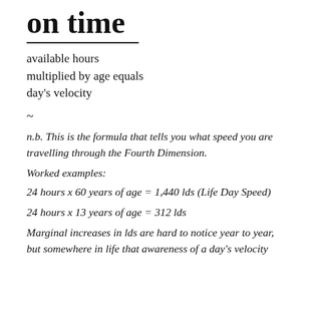on time
available hours
multiplied by age equals
day's velocity
~
n.b. This is the formula that tells you what speed you are travelling through the Fourth Dimension.
Worked examples:
24 hours x 60 years of age = 1,440 lds (Life Day Speed)
24 hours x 13 years of age = 312 lds
Marginal increases in lds are hard to notice year to year, but somewhere in life that awareness of a day's velocity